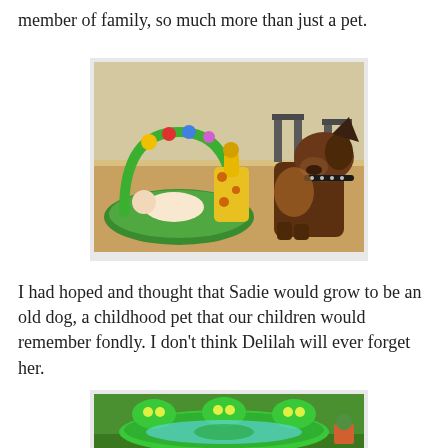member of family, so much more than just a pet.
[Figure (photo): A baby lying on a colorful play mat with an arch of toys above, next to a large German Shepherd dog sitting and looking at the baby, on a wooden floor indoors.]
I had hoped and thought that Sadie would grow to be an old dog, a childhood pet that our children would remember fondly. I don't think Delilah will ever forget her.
[Figure (photo): A green inflatable alien-shaped kiddie pool on grass in a backyard garden setting.]